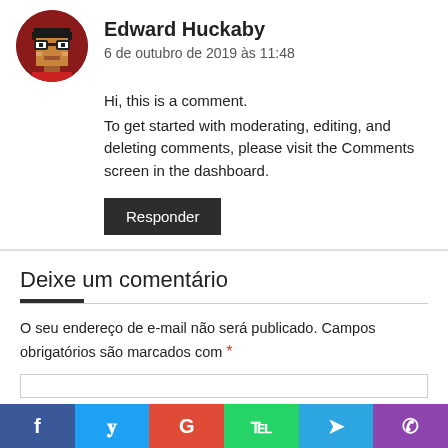Edward Huckaby
6 de outubro de 2019 às 11:48
Hi, this is a comment.
To get started with moderating, editing, and deleting comments, please visit the Comments screen in the dashboard.
Responder
Deixe um comentário
O seu endereço de e-mail não será publicado. Campos obrigatórios são marcados com *